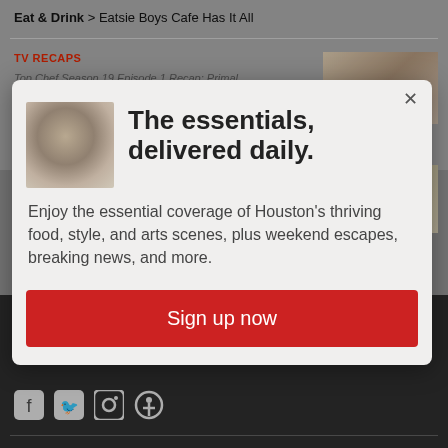Eat & Drink > Eatsie Boys Cafe Has It All
TV RECAPS
Top Chef Season 19 Episode 1 Recap: Primal
FATHER'S DAY
The essentials, delivered daily.
Enjoy the essential coverage of Houston's thriving food, style, and arts scenes, plus weekend escapes, breaking news, and more.
Sign up now
Houstonia.
2799 Katy Freeway, Suite 250, Houston, TX 77007
Phone: 713-862-4570 • Fax: 713-862-4606